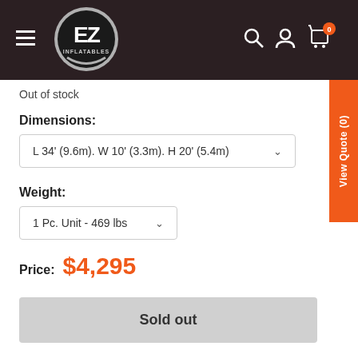[Figure (logo): EZ Inflatables logo — circular black and silver badge with stylized 'EZ' letters and 'INFLATABLES' text below, on a dark maroon navigation bar with hamburger menu, search, account, and cart icons]
Out of stock
Dimensions:
L 34' (9.6m). W 10' (3.3m). H 20' (5.4m)
Weight:
1 Pc. Unit - 469 lbs
Price: $4,295
Sold out